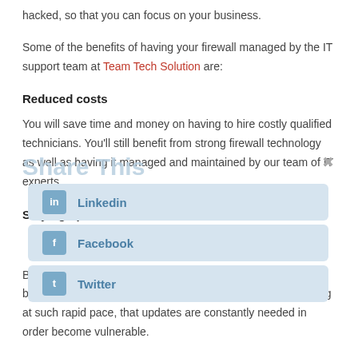hacked, so that you can focus on your business.
Some of the benefits of having your firewall managed by the IT support team at Team Tech Solution are:
Reduced costs
You will save time and money on having to hire costly qualified technicians. You'll still benefit from strong firewall technology as well as having it managed and maintained by our team of IT experts.
Staying up to date
By not upgrading or patching your firewall, you're putting your business at great risk. Threats in the cyber world are occurring at such rapid pace, that updates are constantly needed in order become vulnerable.
Disaster recovery
Disaster recovery simply means getting your IT back online. It's impossible for any business to be protected 100%. Because of this, it